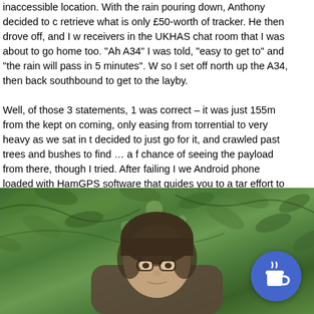inaccessible location. With the rain pouring down, Anthony decided to c retrieve what is only £50-worth of tracker. He then drove off, and I w receivers in the UKHAS chat room that I was about to go home too. "Ah A34" I was told, "easy to get to" and "the rain will pass in 5 minutes". W so I set off north up the A34, then back southbound to get to the layby.

Well, of those 3 statements, 1 was correct – it was just 155m from the kept on coming, only easing from torrential to very heavy as we sat in t decided to just go for it, and crawled past trees and bushes to find … a f chance of seeing the payload from there, though I tried. After failing I we Android phone loaded with HamGPS software that guides you to a tar effort to get there, and for a while I felt like I was starring in "Dave Of The target position I walked into the nylon cord between the payload and rem wasn't visible at all until I was almost on top of it. Here I am eme expedition:
[Figure (photo): A person emerging from dense green foliage/bushes, visible from the shoulders/head up. Background shows dense green leaves and branches. A circular blue badge with a coffee cup icon is visible in the bottom right corner.]